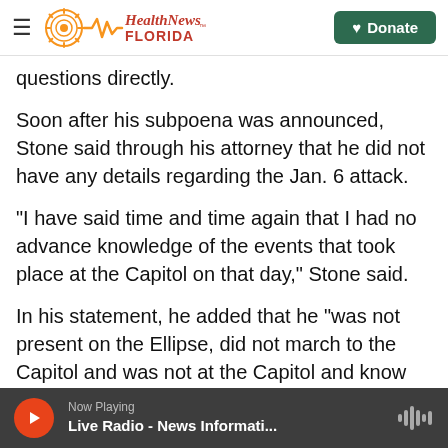Health News FLORIDA — Donate
questions directly.
Soon after his subpoena was announced, Stone said through his attorney that he did not have any details regarding the Jan. 6 attack.
"I have said time and time again that I had no advance knowledge of the events that took place at the Capitol on that day," Stone said.
In his statement, he added that he "was not present on the Ellipse, did not march to the Capitol and was not at the Capitol and know nothing whatsoever about the illegal events that day."
Now Playing — Live Radio - News Informati...